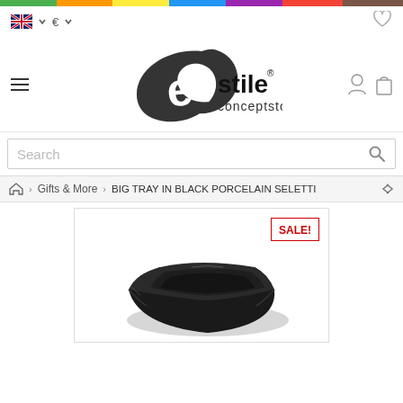[Figure (logo): Estile conceptstore logo - bold circular brushstroke 'e' mark with text 'estile conceptstore' and registered trademark symbol]
Search
Gifts & More > BIG TRAY IN BLACK PORCELAIN SELETTI
[Figure (photo): Black porcelain rectangular tray by Seletti, shown at an angle, with SALE! badge]